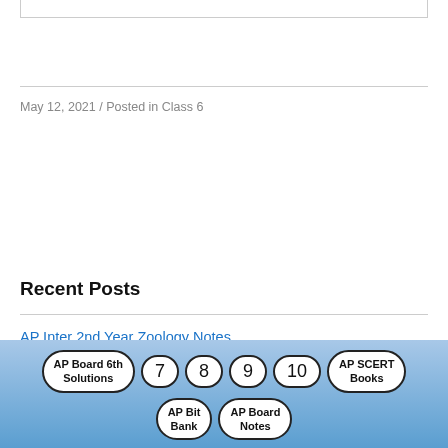May 12, 2021 / Posted in Class 6
Recent Posts
AP Inter 2nd Year Zoology Notes
AP Inter 2nd Year Zoology Important Questions
[Figure (other): Bottom navigation bar with pill-shaped buttons: AP Board 6th Solutions, 7, 8, 9, 10, AP SCERT Books, AP Bit Bank, AP Board Notes on a blue gradient background]